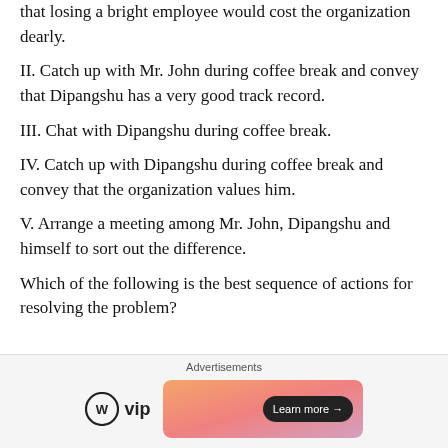that losing a bright employee would cost the organization dearly.
II. Catch up with Mr. John during coffee break and convey that Dipangshu has a very good track record.
III. Chat with Dipangshu during coffee break.
IV. Catch up with Dipangshu during coffee break and convey that the organization values him.
V. Arrange a meeting among Mr. John, Dipangshu and himself to sort out the difference.
Which of the following is the best sequence of actions for resolving the problem?
[Figure (infographic): Advertisements banner with WordPress VIP logo and a Learn more button on a gradient orange/pink background]